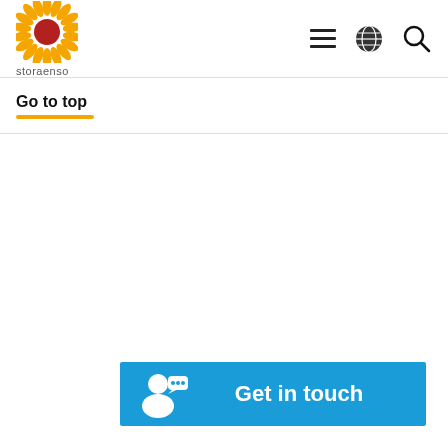Stora Enso
Go to top
Get in touch